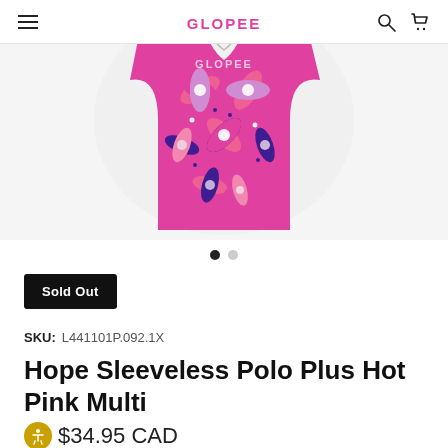Navigation header with hamburger menu, logo, search and cart icons
[Figure (photo): A sleeveless polo shirt with a colorful hot pink, purple, black and white floral/butterfly print pattern. The shirt is displayed on a white background. Below the main image are two carousel navigation dots, the first filled (active) and the second empty.]
Sold Out
SKU: L441101P.092.1X
Hope Sleeveless Polo Plus Hot Pink Multi
$34.95 CAD